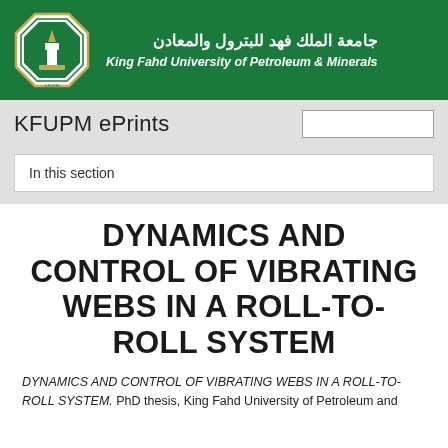[Figure (logo): King Fahd University of Petroleum & Minerals octagonal logo with green and white colors, featuring a torch/tower symbol]
جامعة الملك فهد للبترول والمعادن
King Fahd University of Petroleum & Minerals
KFUPM ePrints
In this section
DYNAMICS AND CONTROL OF VIBRATING WEBS IN A ROLL-TO-ROLL SYSTEM
DYNAMICS AND CONTROL OF VIBRATING WEBS IN A ROLL-TO-ROLL SYSTEM. PhD thesis, King Fahd University of Petroleum and